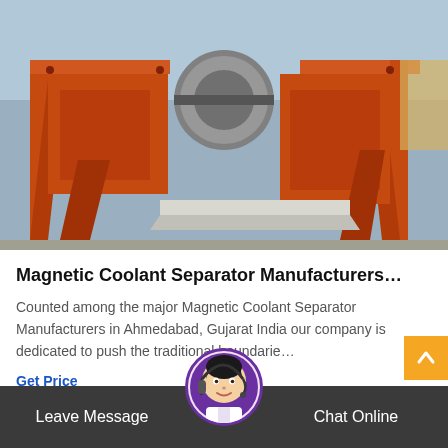[Figure (photo): Orange industrial Magnetic Coolant Separator machine photographed outdoors]
Magnetic Coolant Separator Manufacturers…
Counted among the major Magnetic Coolant Separator Manufacturers in Ahmedabad, Gujarat India our company is dedicated to push the traditional boundarie…
Get Price
Leave Message  Chat Online